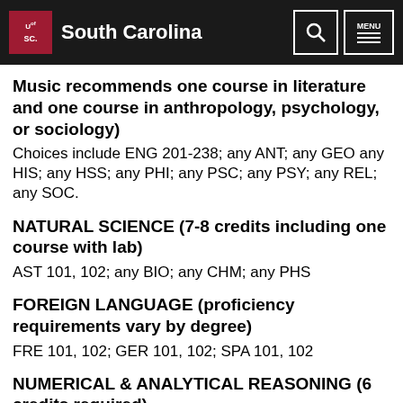University of South Carolina
Music recommends one course in literature and one course in anthropology, psychology, or sociology)
Choices include ENG 201-238; any ANT; any GEO any HIS; any HSS; any PHI; any PSC; any PSY; any REL; any SOC.
NATURAL SCIENCE (7-8 credits including one course with lab)
AST 101, 102; any BIO; any CHM; any PHS
FOREIGN LANGUAGE (proficiency requirements vary by degree)
FRE 101, 102; GER 101, 102; SPA 101, 102
NUMERICAL & ANALYTICAL REASONING (6 credits required)